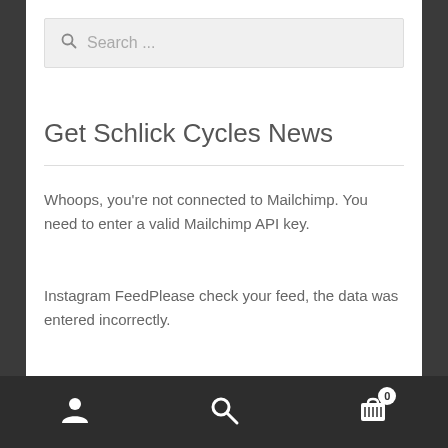Search ...
Get Schlick Cycles News
Whoops, you're not connected to Mailchimp. You need to enter a valid Mailchimp API key.
Instagram FeedPlease check your feed, the data was entered incorrectly.